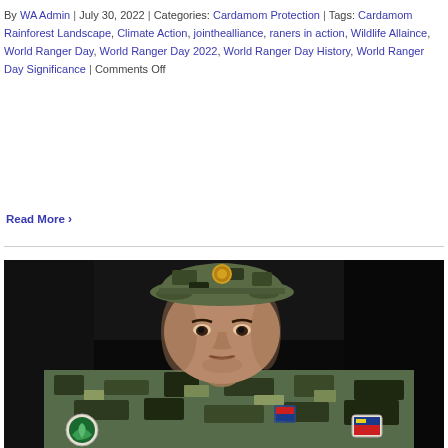By WA Admin | July 30, 2022 | Categories: Cardamom Protection | Tags: Cardamom Rainforest Landscape, Climate Action, jointhealliance, raners in action, Wildlife Allaince, World Ranger Day, World Ranger Day 2022, World Ranger Day History, World Ranger Day Significance | Comments Off
Read More >
[Figure (photo): Portrait photograph of a ranger/conservation officer in camouflage military uniform with patches on the sleeves, wearing a camouflage bucket hat with a badge, looking directly at camera against a dark/black background.]